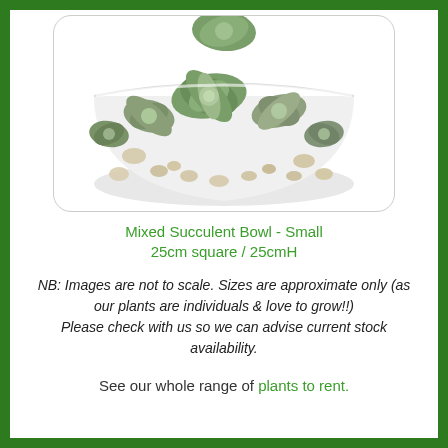[Figure (photo): A white ceramic bowl containing a mixed succulent arrangement with small stones and pebbles, photographed from above-front angle, partially cropped at top.]
Mixed Succulent Bowl - Small
25cm square / 25cmH
NB: Images are not to scale. Sizes are approximate only (as our plants are individuals & love to grow!!)
Please check with us so we can advise current stock availability.
See our whole range of plants to rent.